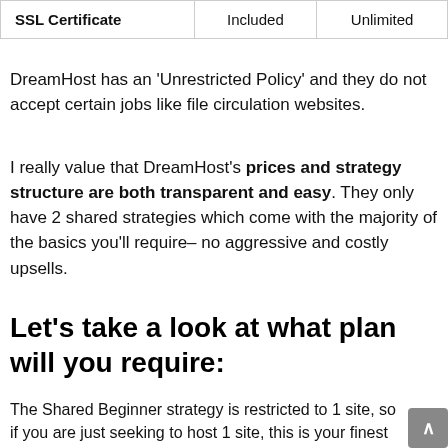| SSL Certificate | Included | Unlimited |
| --- | --- | --- |
DreamHost has an 'Unrestricted Policy' and they do not accept certain jobs like file circulation websites.
I really value that DreamHost's prices and strategy structure are both transparent and easy. They only have 2 shared strategies which come with the majority of the basics you'll require– no aggressive and costly upsells.
Let's take a look at what plan will you require:
The Shared Beginner strategy is restricted to 1 site, so if you are just seeking to host 1 site, this is your finest choice. Kn